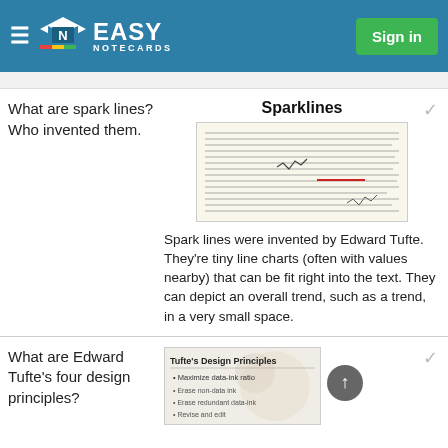Easy Notecards — Sign in
What are spark lines? Who invented them.
Sparklines
[Figure (screenshot): Small screenshot of a textbook page about sparklines showing dense text with sparkline examples inline]
Spark lines were invented by Edward Tufte. They're tiny line charts (often with values nearby) that can be fit right into the text. They can depict an overall trend, such as a trend, in a very small space.
What are Edward Tufte's four design principles?
[Figure (screenshot): Tufte's Design Principles image with bullet: Maximize data-ink ratio]